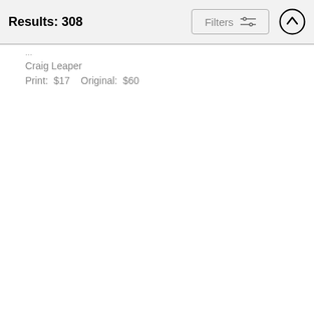Results: 308
Craig Leaper
Print:  $17    Original:  $60